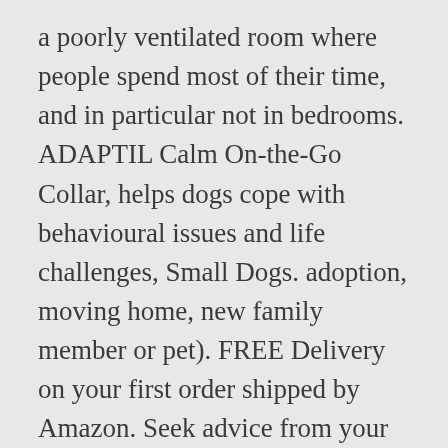a poorly ventilated room where people spend most of their time, and in particular not in bedrooms. ADAPTIL Calm On-the-Go Collar, helps dogs cope with behavioural issues and life challenges, Small Dogs. adoption, moving home, new family member or pet). FREE Delivery on your first order shipped by Amazon. Seek advice from your veterinarian. If a caged bird can handle wax-based non-scented candles, there shouldn't be a problem (the diffuser is a wax-based paraffin oil, similar to a candle, and it is odorless). 3.7 out of 5 stars 1,568. Preferred = The ADAPTIL® product most suited for the situation, Supplement = Additional ADAPTIL® products which can be used in addition to the main choice. If